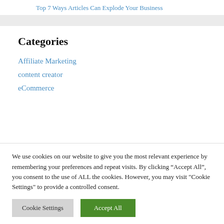Top 7 Ways Articles Can Explode Your Business
Categories
Affiliate Marketing
content creator
eCommerce
We use cookies on our website to give you the most relevant experience by remembering your preferences and repeat visits. By clicking “Accept All”, you consent to the use of ALL the cookies. However, you may visit "Cookie Settings" to provide a controlled consent.